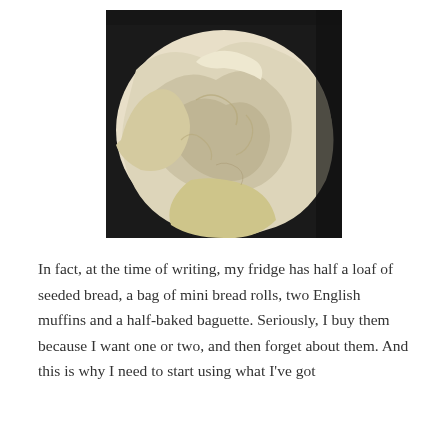[Figure (photo): A close-up photo of raw bread dough on a dark surface. The dough is pale cream/off-white in color, lumpy and folded, with an irregular surface texture. It appears to be a large mass of risen or mixed dough.]
In fact, at the time of writing, my fridge has half a loaf of seeded bread, a bag of mini bread rolls, two English muffins and a half-baked baguette. Seriously, I buy them because I want one or two, and then forget about them. And this is why I need to start using what I've got